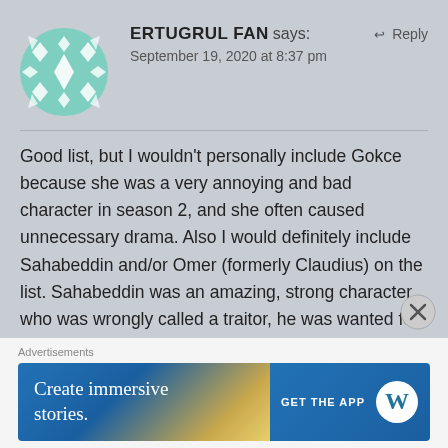[Figure (illustration): Green geometric/floral avatar icon with diamond and snowflake pattern]
ERTUGRUL FAN says:
↩ Reply
September 19, 2020 at 8:37 pm
Good list, but I wouldn't personally include Gokce because she was a very annoying and bad character in season 2, and she often caused unnecessary drama. Also I would definitely include Sahabeddin and/or Omer (formerly Claudius) on the list. Sahabeddin was an amazing, strong character who was wrongly called a traitor, he was wanted for so long and he escaped, then when
Advertisements
[Figure (other): Advertisement banner: 'Create immersive stories.' with WordPress logo and 'GET THE APP' text]